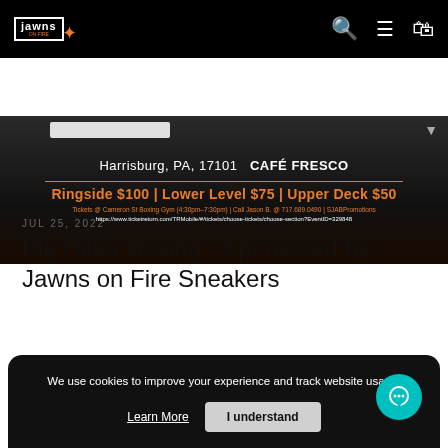Jawns on Fire - navigation bar with logo, search, menu, and cart icons
[Figure (screenshot): Boxing event promotional banner showing Harrisburg PA 17101 / Cafe Fresco, ticket prices Ringside $100 | Lower Level $75 | Upper Deck $50, ticket purchase info and URL]
JUL 25, 2022
Big Hitter Boxing - Sponsored by Jawns on Fire Sneakers
We use cookies to improve your experience and track website usage.
Learn More  I understand